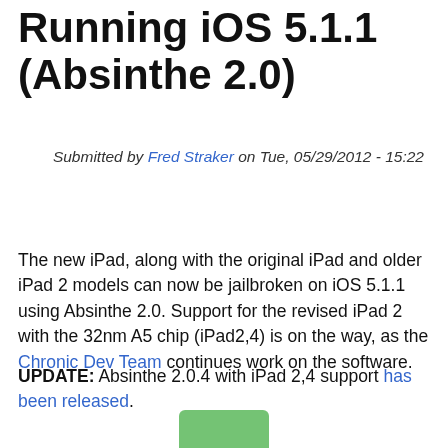Running iOS 5.1.1 (Absinthe 2.0)
Submitted by Fred Straker on Tue, 05/29/2012 - 15:22
The new iPad, along with the original iPad and older iPad 2 models can now be jailbroken on iOS 5.1.1 using Absinthe 2.0. Support for the revised iPad 2 with the 32nm A5 chip (iPad2,4) is on the way, as the Chronic Dev Team continues work on the software.
UPDATE: Absinthe 2.0.4 with iPad 2,4 support has been released.